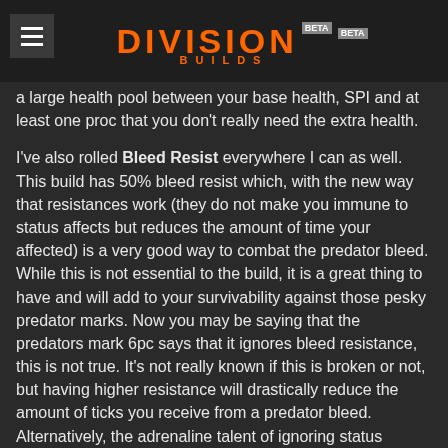DIVISION BUILDS BETA
a large health pool between your base health, SPI and at least one proc that you don't really need the extra health.
I've also rolled Bleed Resist everywhere I can as well. This build has 50% bleed resist which, with the new way that resistances work (they do not make you immune to status affects but reduces the amount of time your affected) is a very good way to combat the predator bleed. While this is not essential to the build, it is a great thing to have and will add to your survivability against those pesky predator marks. Now you may be saying that the predators mark 6pc says that it ignores bleed resistance, this is not true. It's not really known if this is broken or not, but having higher resistance will drastically reduce the amount of ticks you receive from a predator bleed. Alternatively, the adrenaline talent of ignoring status effects for 7 seconds is ignored by the predator mark bleed